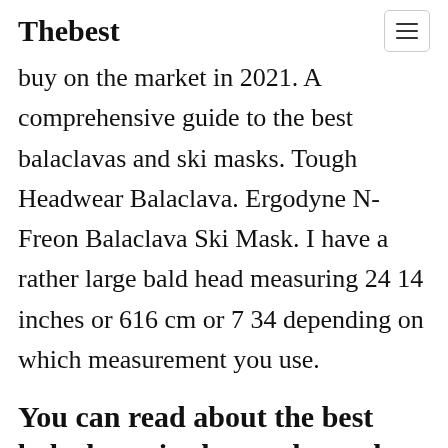Thebest
buy on the market in 2021. A comprehensive guide to the best balaclavas and ski masks. Tough Headwear Balaclava. Ergodyne N-Freon Balaclava Ski Mask. I have a rather large bald head measuring 24 14 inches or 616 cm or 7 34 depending on which measurement you use.
You can read about the best balaclavas in the market today in this list.